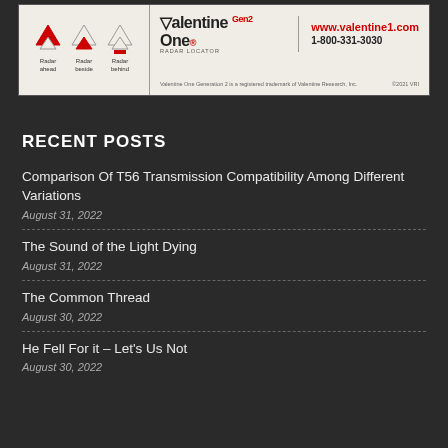[Figure (illustration): Valentine Gen2 One Radar Locator advertisement with three radar direction icons (ahead, beside, behind) on left side, and brand logo with website www.valentine1.com and phone 1-800-331-3030 on right side]
RECENT POSTS
Comparison Of T56 Transmission Compatibility Among Different Variations
August 31, 2022
The Sound of the Light Dying
August 31, 2022
The Common Thread
August 30, 2022
He Fell For it – Let's Us Not
August 30, 2022